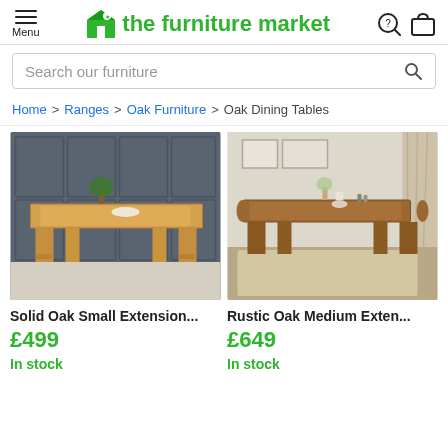Menu | the furniture market
Search our furniture
Home > Ranges > Oak Furniture > Oak Dining Tables
[Figure (photo): Solid Oak light-coloured extending dining table against dark grey panelled wall]
[Figure (photo): Rustic Oak medium extending dining table in neutral beige room with curtains and rug]
Solid Oak Small Extension...
£499
In stock
Rustic Oak Medium Exten...
£649
In stock